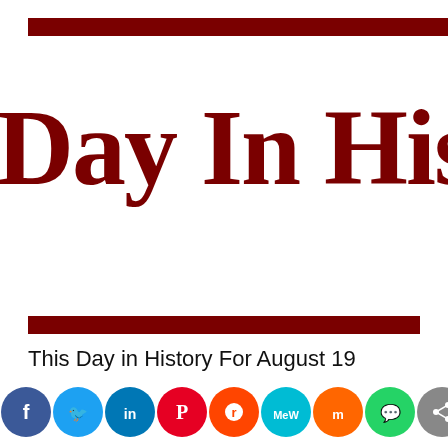[Figure (logo): Partially visible logo text reading 'Day In Hi...' in dark red serif font on white background, with dark red horizontal bar at top]
This Day in History For August 19
[Figure (infographic): Social media sharing bar with icons: Facebook (blue), Twitter (light blue), LinkedIn (dark blue), Pinterest (red), Reddit (orange-red), MeWe (teal), Mix (orange), WhatsApp (green), Share (gray)]